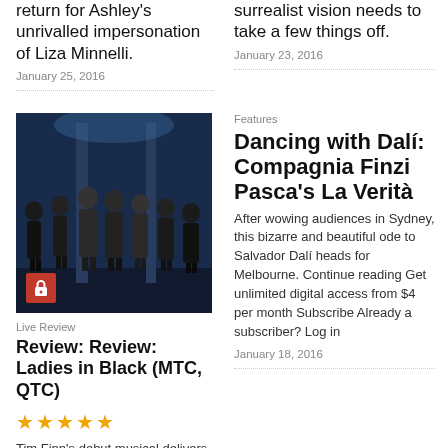return for Ashley's unrivalled impersonation of Liza Minnelli.
January 25, 2016
surrealist vision needs to take a few things off.
January 23, 2016
[Figure (photo): Stage photo of women in black dresses performing on stage with blue stage set behind them]
Live Review
Review: Review: Ladies in Black (MTC, QTC)
★★★★★
Tim Finn's debut musical delivers a beautifully universal message with an
Features
Dancing with Dalí: Compagnia Finzi Pasca's La Verità
After wowing audiences in Sydney, this bizarre and beautiful ode to Salvador Dalí heads for Melbourne. Continue reading Get unlimited digital access from $4 per month Subscribe Already a subscriber? Log in
January 18, 2016